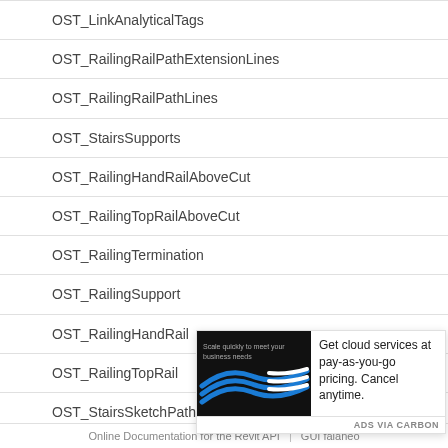OST_LinkAnalyticalTags
OST_RailingRailPathExtensionLines
OST_RailingRailPathLines
OST_StairsSupports
OST_RailingHandRailAboveCut
OST_RailingTopRailAboveCut
OST_RailingTermination
OST_RailingSupport
OST_RailingHandRail
OST_RailingTopRail
OST_StairsSketchPathLines
OST_StairsTr...
OST_StairsTr...
OST_StairsSu...
[Figure (advertisement): Advertisement banner with dark background showing blue and white curved lines with text 'Scale quickly to meet your business needs'. Adjacent text reads 'Get cloud services at pay-as-you-go pricing. Cancel anytime.' Footer reads 'ADS VIA CARBON'.]
Online Documentation for the Revit API | GUI falaneo